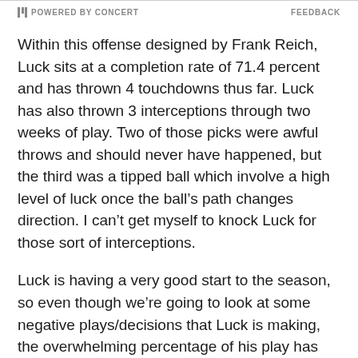POWERED BY CONCERT   FEEDBACK
Within this offense designed by Frank Reich, Luck sits at a completion rate of 71.4 percent and has thrown 4 touchdowns thus far. Luck has also thrown 3 interceptions through two weeks of play. Two of those picks were awful throws and should never have happened, but the third was a tipped ball which involve a high level of luck once the ball’s path changes direction. I can’t get myself to knock Luck for those sort of interceptions.
Luck is having a very good start to the season, so even though we’re going to look at some negative plays/decisions that Luck is making, the overwhelming percentage of his play has been very good. With that, let’s take a look at a few of Luck’s throws from the